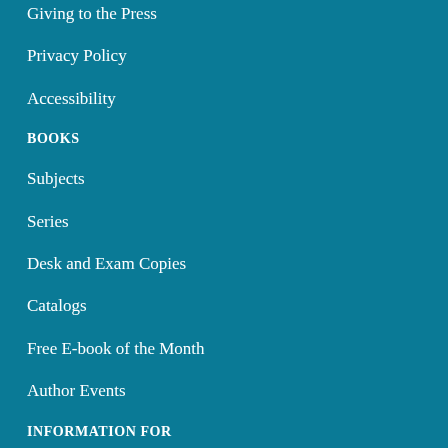Giving to the Press
Privacy Policy
Accessibility
BOOKS
Subjects
Series
Desk and Exam Copies
Catalogs
Free E-book of the Month
Author Events
INFORMATION FOR
Current Authors